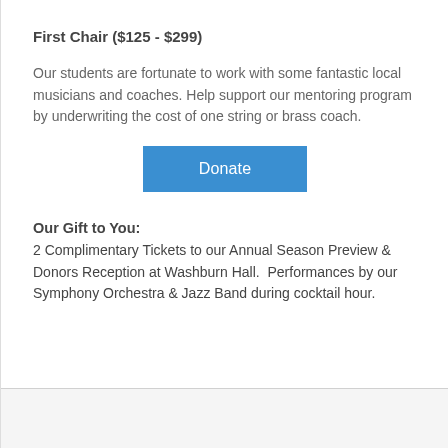First Chair ($125 - $299)
Our students are fortunate to work with some fantastic local musicians and coaches. Help support our mentoring program by underwriting the cost of one string or brass coach.
[Figure (other): Blue Donate button]
Our Gift to You: 2 Complimentary Tickets to our Annual Season Preview & Donors Reception at Washburn Hall.  Performances by our Symphony Orchestra & Jazz Band during cocktail hour.